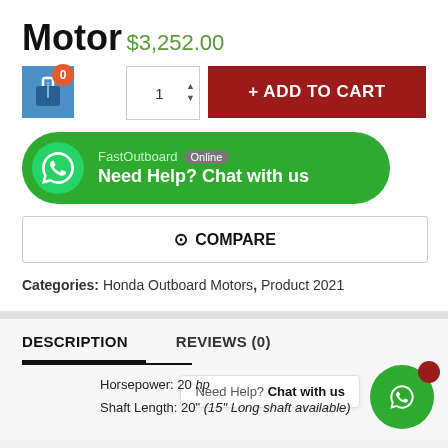Motor
$3,252.00
+ ADD TO CART
FastOutboard Online
Need Help? Chat with us
COMPARE
Categories: Honda Outboard Motors, Product 2021
DESCRIPTION
REVIEWS (0)
Need Help? Chat with us
Horsepower: 20 hp
Shaft Length: 20" (15" Long shaft available)